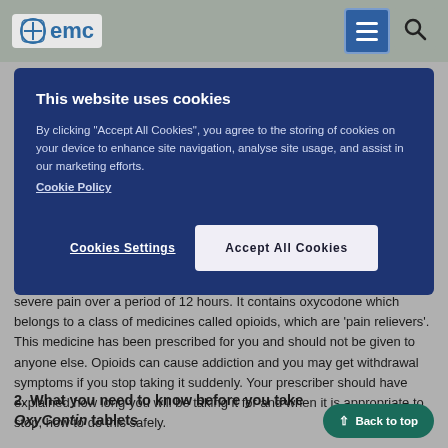emc
[Figure (screenshot): Cookie consent modal overlay with dark blue background. Title: 'This website uses cookies'. Text about accepting cookies for site navigation and analytics. Buttons: 'Cookies Settings' and 'Accept All Cookies'.]
This medicine has been prescribed for you for the relief of moderate to severe pain over a period of 12 hours. It contains oxycodone which belongs to a class of medicines called opioids, which are 'pain relievers'. This medicine has been prescribed for you and should not be given to anyone else. Opioids can cause addiction and you may get withdrawal symptoms if you stop taking it suddenly. Your prescriber should have explained how long you will be taking it for and when it is appropriate to stop, how to do this safely.
2. What you need to know before you take OxyContin tablets